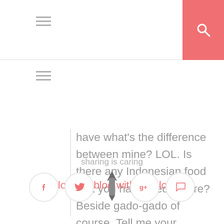have what's the difference between mine? LOL. Is there any Indonesian food that you have tried before? Beside gado-gado of course. Tell me your experience at the comment section :)
Follow my blog with Bloglovin
sharing is caring